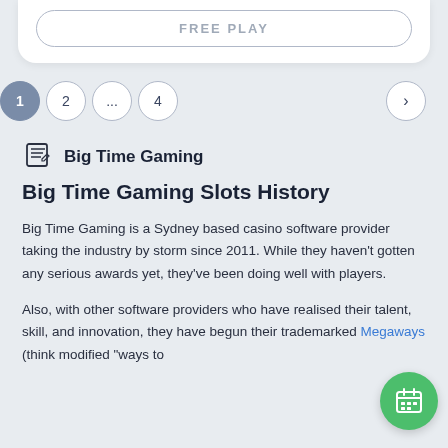[Figure (screenshot): FREE PLAY button with rounded border at top of page]
[Figure (infographic): Pagination control showing page 1 (active/filled), page 2, ellipsis (...), page 4, and a next arrow button]
Big Time Gaming
Big Time Gaming Slots History
Big Time Gaming is a Sydney based casino software provider taking the industry by storm since 2011. While they haven't gotten any serious awards yet, they've been doing well with players.
Also, with other software providers who have realised their talent, skill, and innovation, they have begun their trademarked Megaways (think modified "ways to
[Figure (illustration): Green circular floating action button with a calendar icon]